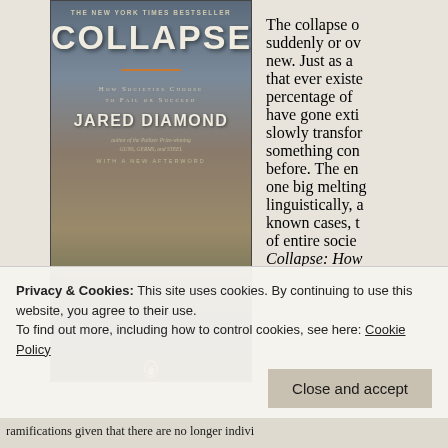[Figure (photo): Book cover of 'Collapse: How Societies Choose to Fail or Succeed' by Jared Diamond, The New York Times Bestseller, with a black and white image of ancient ruins in a dramatic landscape]
The collapse of suddenly or ov new. Just as a that ever existe percentage of have gone exti slowly transfor something con before. The en one big melting linguistically, a known cases, t of entire socie Collapse: How
Privacy & Cookies: This site uses cookies. By continuing to use this website, you agree to their use.
To find out more, including how to control cookies, see here: Cookie Policy
Close and accept
ramifications given that there are no longer indivi